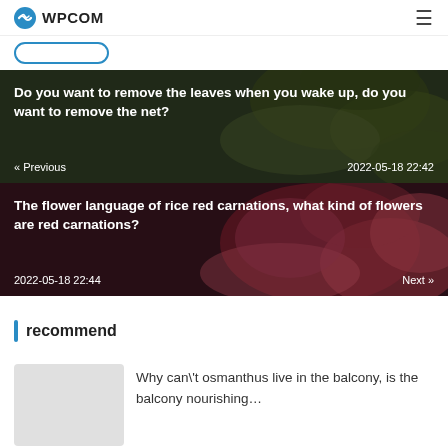WPCOM
[Figure (screenshot): Navigation button bar with a rounded outline button]
[Figure (photo): Dark green foliage background with article title: Do you want to remove the leaves when you wake up, do you want to remove the net? Previous | 2022-05-18 22:42]
[Figure (photo): Red carnations floral background with article title: The flower language of rice red carnations, what kind of flowers are red carnations? 2022-05-18 22:44 | Next]
recommend
Why can't osmanthus live in the balcony, is the balcony nourishing…